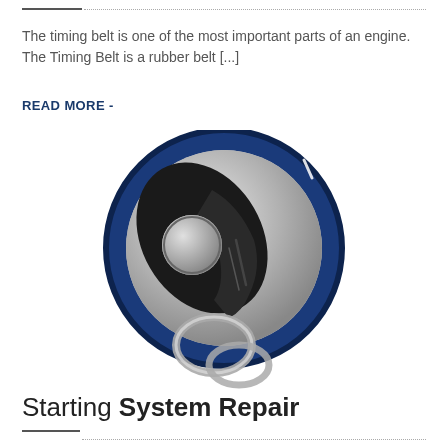The timing belt is one of the most important parts of an engine. The Timing Belt is a rubber belt [...]
READ MORE -
[Figure (illustration): Illustration of a car ignition key/switch with a blue outer ring, metallic silver inner circle, and a black key silhouette with key ring, shown in close-up stylized view.]
Starting System Repair